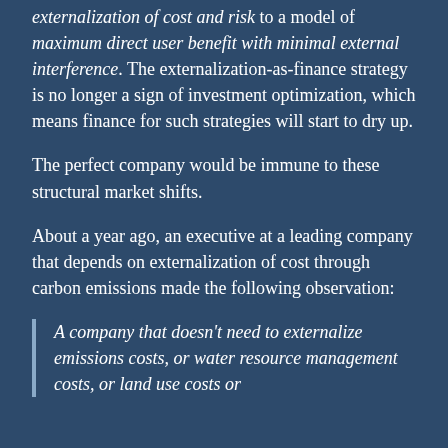externalization of cost and risk to a model of maximum direct user benefit with minimal external interference. The externalization-as-finance strategy is no longer a sign of investment optimization, which means finance for such strategies will start to dry up.
The perfect company would be immune to these structural market shifts.
About a year ago, an executive at a leading company that depends on externalization of cost through carbon emissions made the following observation:
A company that doesn't need to externalize emissions costs, or water resource management costs, or land use costs or